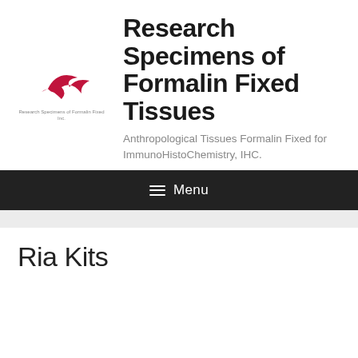[Figure (logo): Red swoosh/bird logo for Research Specimens of Formalin Fixed Inc with tagline text below]
Research Specimens of Formalin Fixed Tissues
Anthropological Tissues Formalin Fixed for ImmunoHistoChemistry, IHC.
≡ Menu
Ria Kits